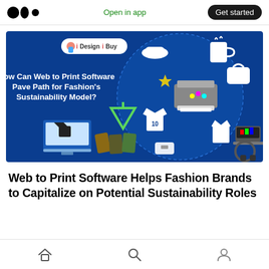Open in app | Get started
[Figure (infographic): Promotional infographic with dark blue background from iDesigniBuy showing 'How Can Web to Print Software Pave Path for Fashion's Sustainability Model?' with icons of fashion items (hat, bag, mug, t-shirt, tags), a printer, computer showing t-shirt designer, recycling symbol, and other accessories arranged in a circular layout.]
Web to Print Software Helps Fashion Brands to Capitalize on Potential Sustainability Roles
Home | Search | Profile